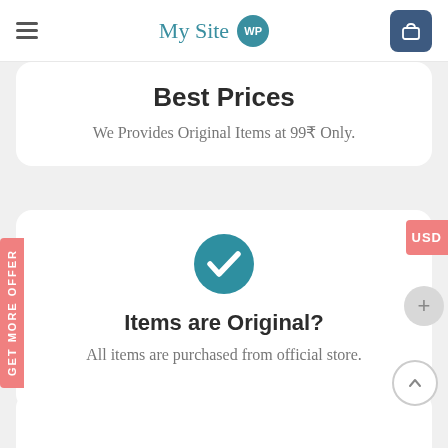My Site WP
Best Prices
We Provides Original Items at 99₹ Only.
[Figure (illustration): Teal circle with white checkmark icon]
Items are Original?
All items are purchased from official store.